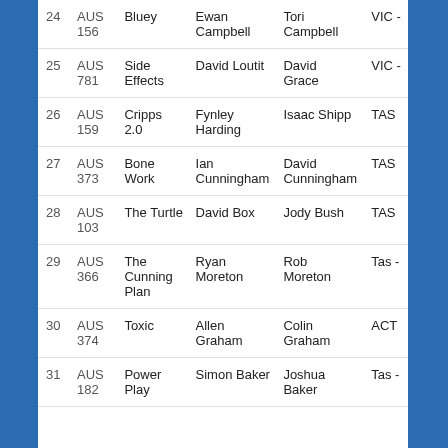| # | Sail No | Boat Name | Helm | Crew | State |
| --- | --- | --- | --- | --- | --- |
| 24 | AUS 156 | Bluey | Ewan Campbell | Tori Campbell | VIC - |
| 25 | AUS 781 | Side Effects | David Loutit | David Grace | VIC - |
| 26 | AUS 159 | Cripps 2.0 | Fynley Harding | Isaac Shipp | TAS |
| 27 | AUS 373 | Bone Work | Ian Cunningham | David Cunningham | TAS |
| 28 | AUS 103 | The Turtle | David Box | Jody Bush | TAS |
| 29 | AUS 366 | The Cunning Plan | Ryan Moreton | Rob Moreton | Tas - |
| 30 | AUS 374 | Toxic | Allen Graham | Colin Graham | ACT |
| 31 | AUS 182 | Power Play | Simon Baker | Joshua Baker | Tas - |